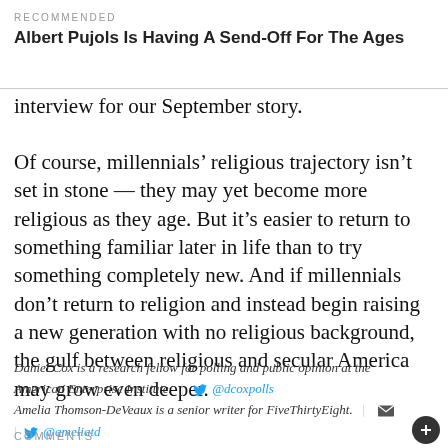RECOMMENDED
Albert Pujols Is Having A Send-Off For The Ages
interview for our September story.
Of course, millennials' religious trajectory isn't set in stone — they may yet become more religious as they age. But it's easier to return to something familiar later in life than to try something completely new. And if millennials don't return to religion and instead begin raising a new generation with no religious background, the gulf between religious and secular America may grow even deeper.
Daniel Cox is a research fellow for polling and public opinion at the American Enterprise Institute. | @dcoxpolls
Amelia Thomson-DeVeaux is a senior writer for FiveThirtyEight. | @ameliatd